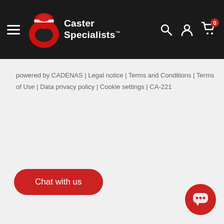Caster Specialists
powered by CADENAS | Legal notice | Terms and Conditions | Terms of Use | Data privacy policy | Cookie settings | CA-221
[Figure (illustration): Red rounded rectangle button with white text 'Chat with us']
[Figure (illustration): Red circular chat bubble icon in bottom right corner]